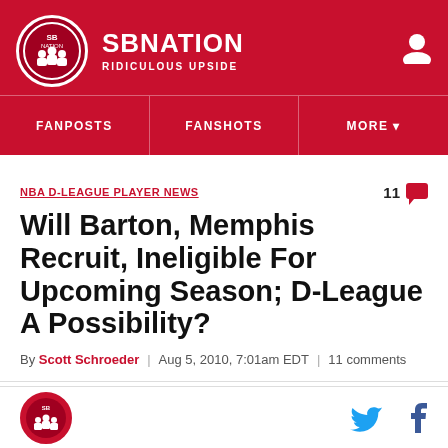SB NATION - RIDICULOUS UPSIDE
NBA D-LEAGUE PLAYER NEWS
Will Barton, Memphis Recruit, Ineligible For Upcoming Season; D-League A Possibility?
By Scott Schroeder | Aug 5, 2010, 7:01am EDT | 11 comments
SB Nation logo with Twitter and Facebook share icons